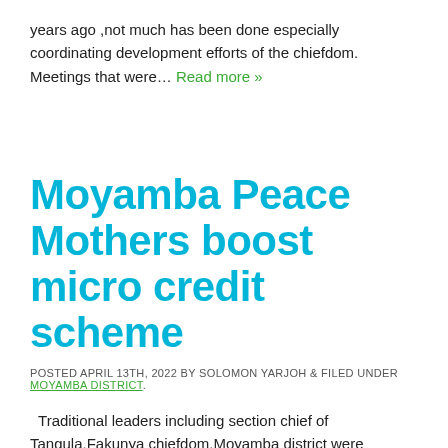years ago ,not much has been done especially coordinating development efforts of the chiefdom. Meetings that were… Read more »
Moyamba Peace Mothers boost micro credit scheme
POSTED APRIL 13TH, 2022 BY SOLOMON YARJOH & FILED UNDER MOYAMBA DISTRICT.
Traditional leaders including section chief of Tangula,Fakunya chiefdom,Moyamba district were